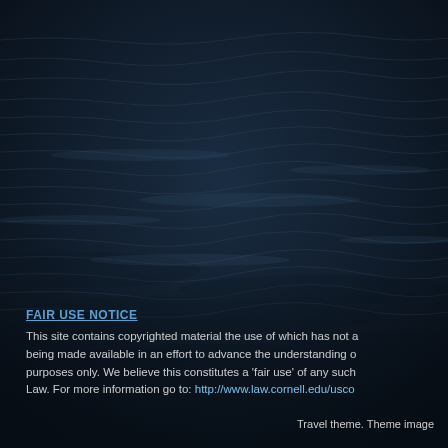[Figure (photo): Dark ocean water surface with gentle rippling waves, photographed from above. Deep dark navy blue tones.]
FAIR USE NOTICE
This site contains copyrighted material the use of which has not always been specifically authorized by the copyright owner. We are being made available in an effort to advance the understanding of environmental, political, human rights, economic, democracy, scientific, and social justice issues, for educational purposes only. We believe this constitutes a 'fair use' of any such copyrighted material as provided for in section 107 of the US Copyright Law. For more information go to: http://www.law.cornell.edu/uscode/17/107.shtml
Travel theme. Theme image